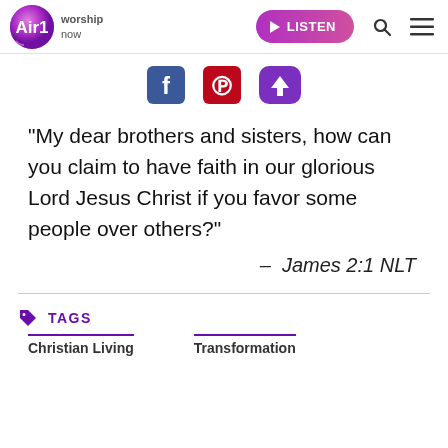Air1 worship now | LISTEN
[Figure (screenshot): Social sharing icons: Facebook (blue), Pinterest (red), and a download/share icon (purple)]
“My dear brothers and sisters, how can you claim to have faith in our glorious Lord Jesus Christ if you favor some people over others?”
–  James 2:1 NLT
TAGS
Christian Living    Transformation